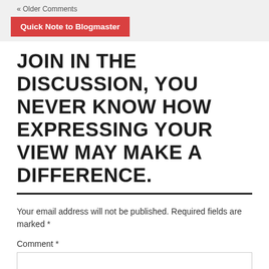« Older Comments
Quick Note to Blogmaster
JOIN IN THE DISCUSSION, YOU NEVER KNOW HOW EXPRESSING YOUR VIEW MAY MAKE A DIFFERENCE.
Your email address will not be published. Required fields are marked *
Comment *